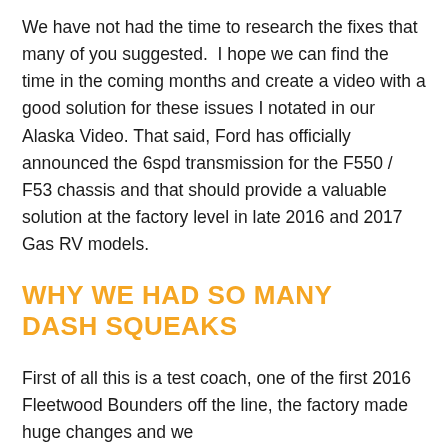We have not had the time to research the fixes that many of you suggested.  I hope we can find the time in the coming months and create a video with a good solution for these issues I notated in our Alaska Video. That said, Ford has officially announced the 6spd transmission for the F550 / F53 chassis and that should provide a valuable solution at the factory level in late 2016 and 2017 Gas RV models.
WHY WE HAD SO MANY DASH SQUEAKS
First of all this is a test coach, one of the first 2016 Fleetwood Bounders off the line, the factory made huge changes and we